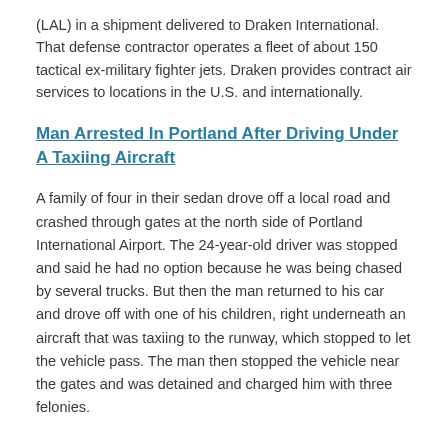(LAL) in a shipment delivered to Draken International. That defense contractor operates a fleet of about 150 tactical ex-military fighter jets. Draken provides contract air services to locations in the U.S. and internationally.
Man Arrested In Portland After Driving Under A Taxiing Aircraft
A family of four in their sedan drove off a local road and crashed through gates at the north side of Portland International Airport. The 24-year-old driver was stopped and said he had no option because he was being chased by several trucks. But then the man returned to his car and drove off with one of his children, right underneath an aircraft that was taxiing to the runway, which stopped to let the vehicle pass. The man then stopped the vehicle near the gates and was detained and charged him with three felonies.